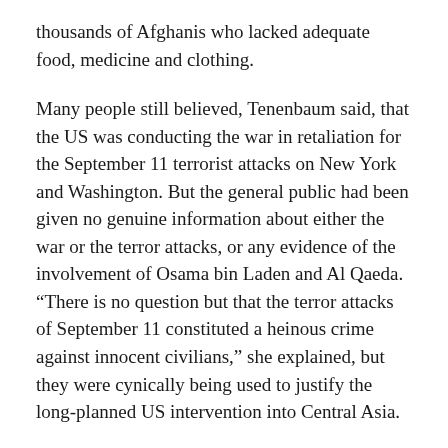thousands of Afghanis who lacked adequate food, medicine and clothing.
Many people still believed, Tenenbaum said, that the US was conducting the war in retaliation for the September 11 terrorist attacks on New York and Washington. But the general public had been given no genuine information about either the war or the terror attacks, or any evidence of the involvement of Osama bin Laden and Al Qaeda. “There is no question but that the terror attacks of September 11 constituted a heinous crime against innocent civilians,” she explained, but they were cynically being used to justify the long-planned US intervention into Central Asia.
The events of September 11 had merely accelerated a whole series of processes that were already maturing beneath the surface, Tenenbaum explained, in relation to both foreign and domestic policy. This included a